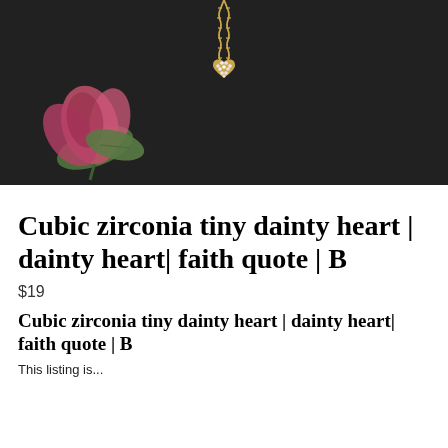[Figure (photo): A heart-shaped cubic zirconia pendant on a gold chain necklace, photographed on a dark background with a pink flower/leaf beside it.]
Cubic zirconia tiny dainty heart | dainty heart| faith quote | B
$19
Cubic zirconia tiny dainty heart | dainty heart| faith quote | B
This listing is...